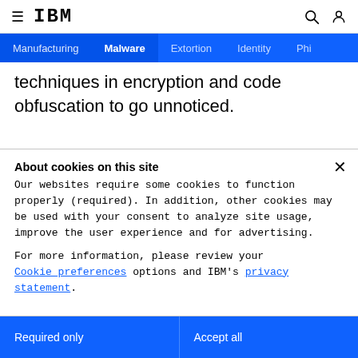≡ IBM [search icon] [user icon]
Manufacturing | Malware | Extortion | Identity | Phi
techniques in encryption and code obfuscation to go unnoticed.
About cookies on this site
Our websites require some cookies to function properly (required). In addition, other cookies may be used with your consent to analyze site usage, improve the user experience and for advertising.

For more information, please review your Cookie preferences options and IBM's privacy statement.
Required only
Accept all